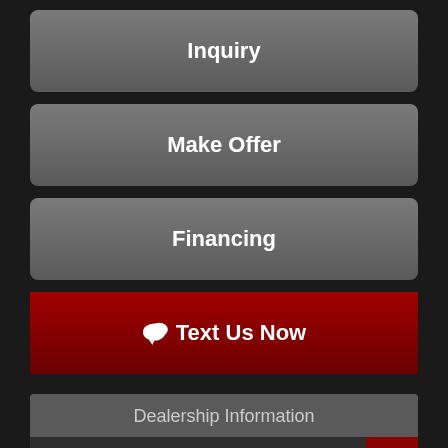Inquiry
Make Offer
Financing
Text Us Now
Dealership Information
Wheelzzz & Dealzzz LLC
Sales
Text Us